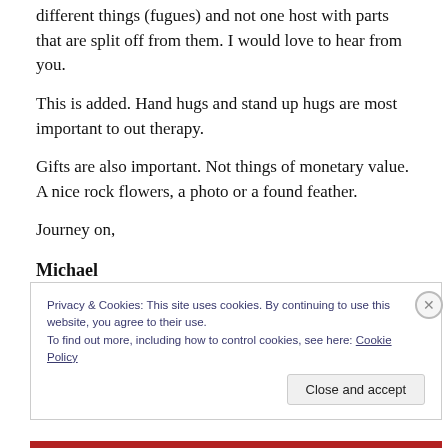different things (fugues) and not one host with parts that are split off from them. I would love to hear from you.
This is added. Hand hugs and stand up hugs are most important to out therapy.
Gifts are also important. Not things of monetary value. A nice rock flowers, a photo or a found feather.
Journey on,
Michael
Privacy & Cookies: This site uses cookies. By continuing to use this website, you agree to their use.
To find out more, including how to control cookies, see here: Cookie Policy
Close and accept